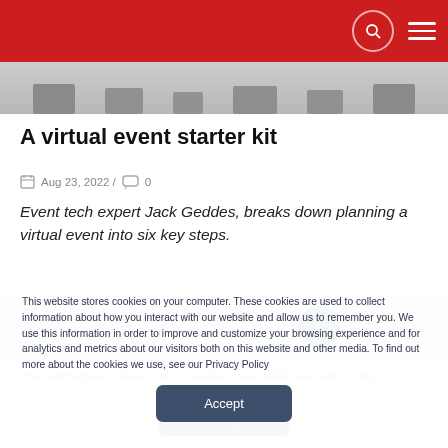Navigation header with search and menu icons
[Figure (photo): Top cropped image showing computer monitors/screens on a gray background]
A virtual event starter kit
Aug 23, 2022 / 0
Event tech expert Jack Geddes, breaks down planning a virtual event into six key steps.
[Figure (photo): Partial image showing a gray background with a dark navy circle containing ellipsis dots]
This website stores cookies on your computer. These cookies are used to collect information about how you interact with our website and allow us to remember you. We use this information in order to improve and customize your browsing experience and for analytics and metrics about our visitors both on this website and other media. To find out more about the cookies we use, see our Privacy Policy